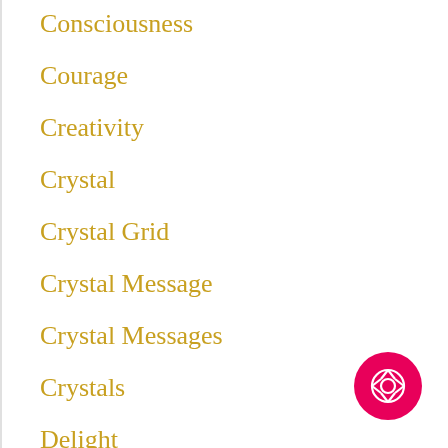Consciousness
Courage
Creativity
Crystal
Crystal Grid
Crystal Message
Crystal Messages
Crystals
Delight
Education
Energy